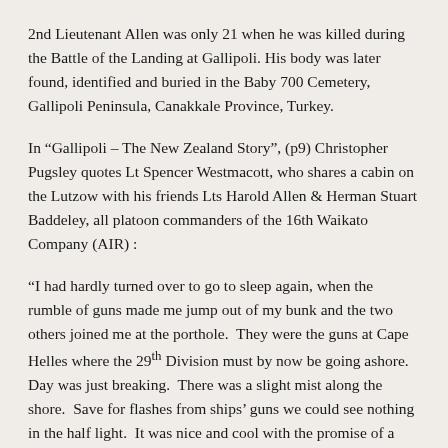2nd Lieutenant Allen was only 21 when he was killed during the Battle of the Landing at Gallipoli. His body was later found, identified and buried in the Baby 700 Cemetery, Gallipoli Peninsula, Canakkale Province, Turkey.
In “Gallipoli – The New Zealand Story”, (p9) Christopher Pugsley quotes Lt Spencer Westmacott, who shares a cabin on the Lutzow with his friends Lts Harold Allen & Herman Stuart Baddeley, all platoon commanders of the 16th Waikato Company (AIR) :
“I had hardly turned over to go to sleep again, when the rumble of guns made me jump out of my bunk and the two others joined me at the porthole.  They were the guns at Cape Helles where the 29th Division must by now be going ashore.  Day was just breaking.  There was a slight mist along the shore.  Save for flashes from ships’ guns we could see nothing in the half light.  It was nice and cool with the promise of a glorious day.  It was a little after 4.00 am I said, “We may not rest so comfortably tonight. Let us go to sleep again” and we did very quickly.